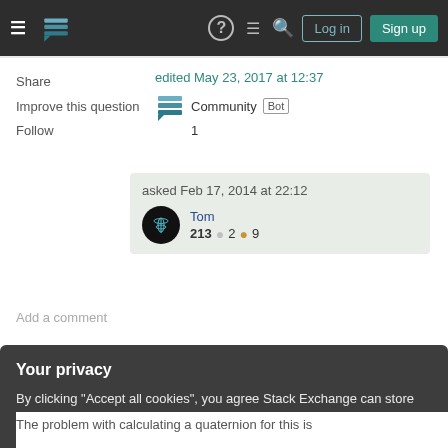Stack Exchange navigation header with logo, icons, Log in and Sign up buttons
Share
Improve this question
Follow
edited May 23, 2017 at 12:37
Community Bot
1
asked Feb 17, 2014 at 22:12
Tom
213  ●2  ●9
Add a comment
Sorted by:
1 Answer
Highest score (default)
Your privacy
By clicking "Accept all cookies", you agree Stack Exchange can store cookies on your device and disclose information in accordance with our Cookie Policy.
Accept all cookies
Customize settings
The problem with calculating a quaternion for this is